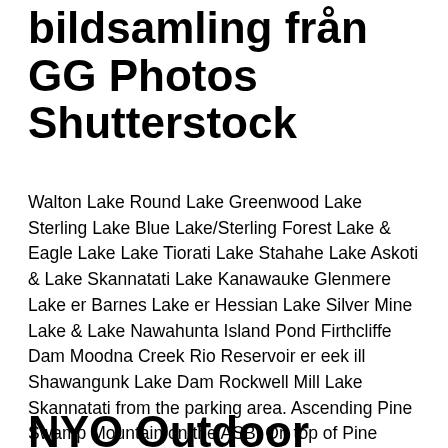bildsamling från GG Photos Shutterstock
Walton Lake Round Lake Greenwood Lake Sterling Lake Blue Lake/Sterling Forest Lake & Eagle Lake Lake Tiorati Lake Stahahe Lake Askoti & Lake Skannatati Lake Kanawauke Glenmere Lake er Barnes Lake er Hessian Lake Silver Mine Lake & Lake Nawahunta Island Pond Firthcliffe Dam Moodna Creek Rio Reservoir er eek ill Shawangunk Lake Dam Rockwell Mill Lake Skannatati from the parking area. Ascending Pine Swamp Mountain on the ASB. On top of Pine Swamp Mountain. Facing south towards Lake Skannatati and Kanawauke.
NYO Outdoor PictureFrameb...